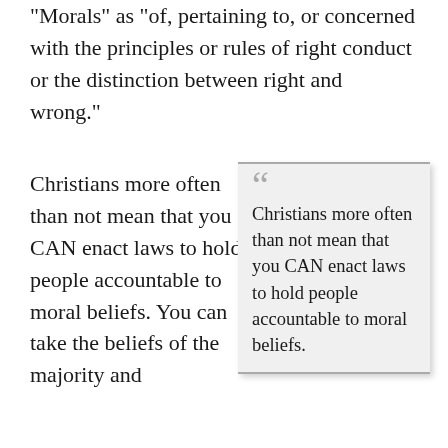"Morals" as "of, pertaining to, or concerned with the principles or rules of right conduct or the distinction between right and wrong."
Christians more often than not mean that you CAN enact laws to hold people accountable to moral beliefs. You can take the beliefs of the majority and
Christians more often than not mean that you CAN enact laws to hold people accountable to moral beliefs.